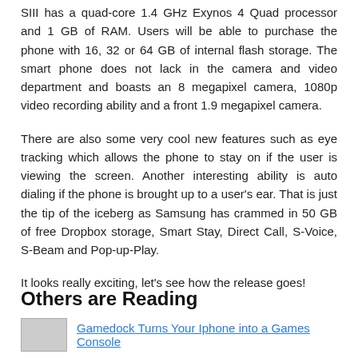SIII has a quad-core 1.4 GHz Exynos 4 Quad processor and 1 GB of RAM. Users will be able to purchase the phone with 16, 32 or 64 GB of internal flash storage. The smart phone does not lack in the camera and video department and boasts an 8 megapixel camera, 1080p video recording ability and a front 1.9 megapixel camera.
There are also some very cool new features such as eye tracking which allows the phone to stay on if the user is viewing the screen. Another interesting ability is auto dialing if the phone is brought up to a user's ear. That is just the tip of the iceberg as Samsung has crammed in 50 GB of free Dropbox storage, Smart Stay, Direct Call, S-Voice, S-Beam and Pop-up-Play.
It looks really exciting, let's see how the release goes!
Others are Reading
Gamedock Turns Your Iphone into a Games Console